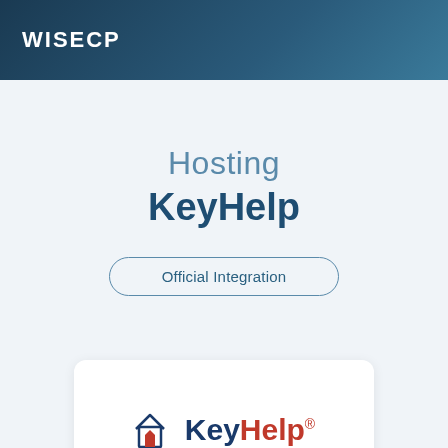WISECP
Hosting
KeyHelp
Official Integration
[Figure (logo): KeyHelp logo with house/key icon in red and blue, text 'KeyHelp' with registered trademark symbol]